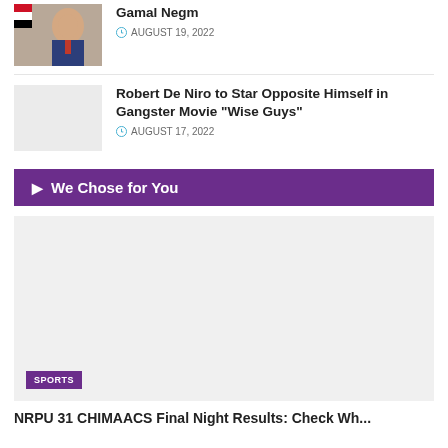[Figure (photo): Headshot photo of Gamal Negm, a man in a suit with Egyptian flag in background]
Gamal Negm
AUGUST 19, 2022
[Figure (photo): Placeholder thumbnail image (light gray)]
Robert De Niro to Star Opposite Himself in Gangster Movie “Wise Guys”
AUGUST 17, 2022
▶  We Chose for You
[Figure (photo): Large featured image placeholder (light gray) with SPORTS badge]
SPORTS
NRPU 31 CHIMAACS Final Night Results: Check Wh...